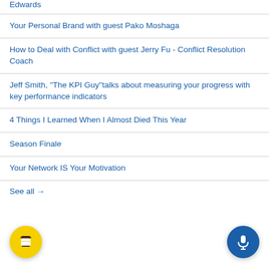Edwards
Your Personal Brand with guest Pako Moshaga
How to Deal with Conflict with guest Jerry Fu - Conflict Resolution Coach
Jeff Smith, "The KPI Guy"talks about measuring your progress with key performance indicators
4 Things I Learned When I Almost Died This Year
Season Finale
Your Network IS Your Motivation
See all →
[Figure (illustration): Yellow circular button with coffee cup icon (Buy Me a Coffee widget)]
[Figure (illustration): Blue circular button with microphone icon]